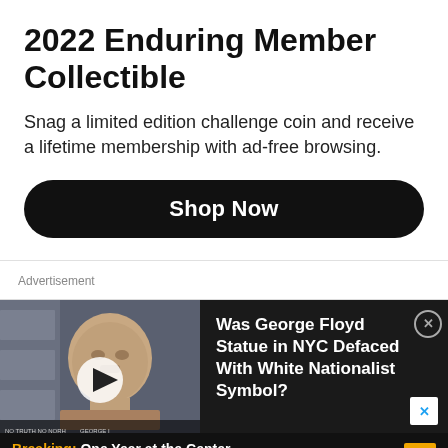2022 Enduring Member Collectible
Snag a limited edition challenge coin and receive a lifetime membership with ad-free browsing.
Shop Now
Advertisement
[Figure (screenshot): Video thumbnail showing a George Floyd bust/statue sculpture with a play button overlay and protest scene below.]
Was George Floyd Statue in NYC Defaced With White Nationalist Symbol?
Breaking: One Year at the Center of the Infodemic